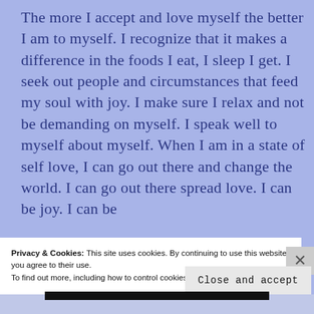The more I accept and love myself the better I am to myself.  I recognize that it makes a difference in the foods I eat, I sleep I get.  I seek out people and circumstances that feed my soul with joy.  I make sure I relax and not be demanding on myself.  I speak well to myself about myself. When I am in a state of self love, I can go out there and change the world.  I can go out there spread love.  I can be joy.  I can be
Privacy & Cookies: This site uses cookies. By continuing to use this website, you agree to their use.
To find out more, including how to control cookies, see here: Cookie Policy
Close and accept